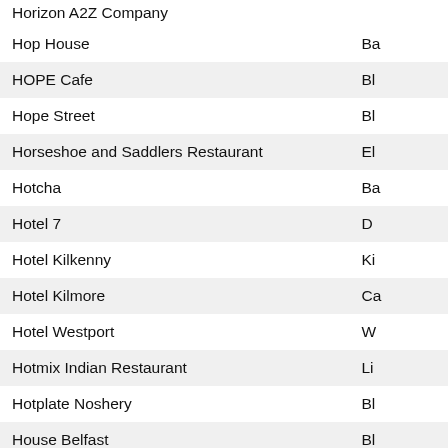| Name | Location |
| --- | --- |
| Horizon A2Z Company |  |
| Hop House | Ba |
| HOPE Cafe | Bl |
| Hope Street | Bl |
| Horseshoe and Saddlers Restaurant | El |
| Hotcha | Ba |
| Hotel 7 | D |
| Hotel Kilkenny | Ki |
| Hotel Kilmore | Ca |
| Hotel Westport | W |
| Hotmix Indian Restaurant | Li |
| Hotplate Noshery | Bl |
| House Belfast | Bl |
| House of Zen | Bl |
| Howard St | Bl |
| Hudson Bar | Bl |
| Hugh McCanns | N |
| Hughie Ruadhs Meenagh Bar & Restaurant | O |
| Hunters Moon | N |